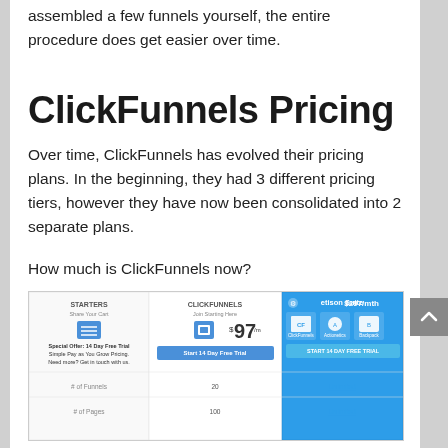assembled a few funnels yourself, the entire procedure does get easier over time.
ClickFunnels Pricing
Over time, ClickFunnels has evolved their pricing plans. In the beginning, they had 3 different pricing tiers, however they have now been consolidated into 2 separate plans.
How much is ClickFunnels now?
[Figure (screenshot): Pricing table screenshot showing Starters plan, ClickFunnels plan at $97/mo with Start 14 Day Free Trial button, and Etison Suite plan at $297/mth with icons for ClickFunnels, Actionetics, Backpack, and START 14 DAY FREE TRIAL button. Rows for # of Funnels and # of Pages visible.]